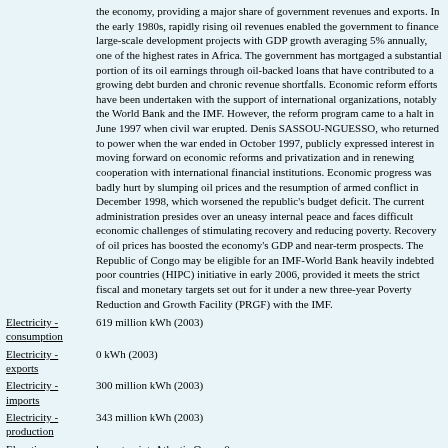the economy, providing a major share of government revenues and exports. In the early 1980s, rapidly rising oil revenues enabled the government to finance large-scale development projects with GDP growth averaging 5% annually, one of the highest rates in Africa. The government has mortgaged a substantial portion of its oil earnings through oil-backed loans that have contributed to a growing debt burden and chronic revenue shortfalls. Economic reform efforts have been undertaken with the support of international organizations, notably the World Bank and the IMF. However, the reform program came to a halt in June 1997 when civil war erupted. Denis SASSOU-NGUESSO, who returned to power when the war ended in October 1997, publicly expressed interest in moving forward on economic reforms and privatization and in renewing cooperation with international financial institutions. Economic progress was badly hurt by slumping oil prices and the resumption of armed conflict in December 1998, which worsened the republic's budget deficit. The current administration presides over an uneasy internal peace and faces difficult economic challenges of stimulating recovery and reducing poverty. Recovery of oil prices has boosted the economy's GDP and near-term prospects. The Republic of Congo may be eligible for an IMF-World Bank heavily indebted poor countries (HIPC) initiative in early 2006, provided it meets the strict fiscal and monetary targets set out for it under a new three-year Poverty Reduction and Growth Facility (PRGF) with the IMF.
Electricity - consumption: 619 million kWh (2003)
Electricity - exports: 0 kWh (2003)
Electricity - imports: 300 million kWh (2003)
Electricity - production: 343 million kWh (2003)
Elevation extremes: lowest point: Atlantic Ocean 0 m; highest point: Mount Berongou 903 m
Environment - current issues: air pollution from vehicle emissions; water pollution from the dumping of raw sewage; tap water is not potable; deforestation
Environment - international agreements: party to: Biodiversity, Climate Change, Desertification, Endangered Species, Ozone Layer Protection, Tropical Timber 83, Tropical Timber 94, Wetlands